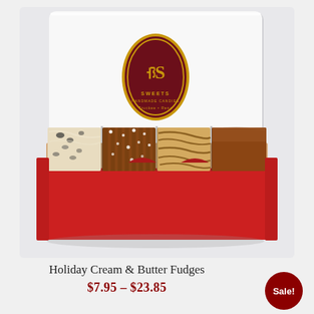[Figure (photo): Open red gift box with white lid showing 'Sweets' brand logo (gold oval with maroon background), containing four varieties of fudge: cookies and cream, salted caramel, peanut butter swirl, and chocolate milk chocolate.]
Holiday Cream & Butter Fudges
$7.95 – $23.85
Sale!